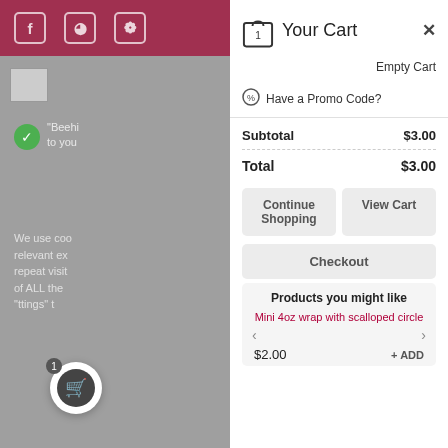Your Cart
Empty Cart
Have a Promo Code?
Subtotal $3.00
Total $3.00
Continue Shopping
View Cart
Checkout
Products you might like
Mini 4oz wrap with scalloped circle
$2.00
+ ADD